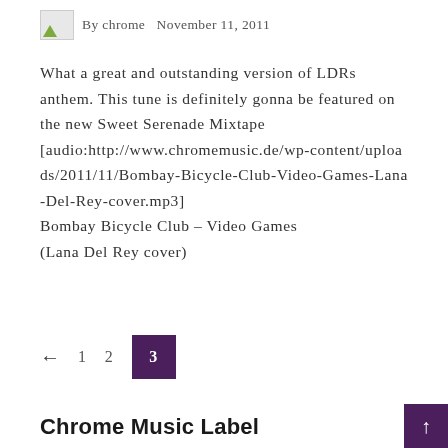By chrome   November 11, 2011
What a great and outstanding version of LDRs anthem. This tune is definitely gonna be featured on the new Sweet Serenade Mixtape [audio:http://www.chromemusic.de/wp-content/uploads/2011/11/Bombay-Bicycle-Club-Video-Games-Lana-Del-Rey-cover.mp3]
Bombay Bicycle Club – Video Games (Lana Del Rey cover)
← 1 2 3
Chrome Music Label